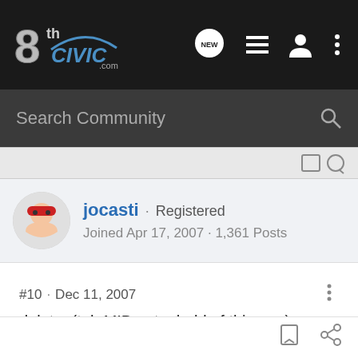8thCivic.com navigation bar with NEW, list, profile, and menu icons
Search Community
jocasti · Registered
Joined Apr 17, 2007 · 1,361 Posts
#10 · Dec 11, 2007
delete. (teh MIB got a hold of this one)